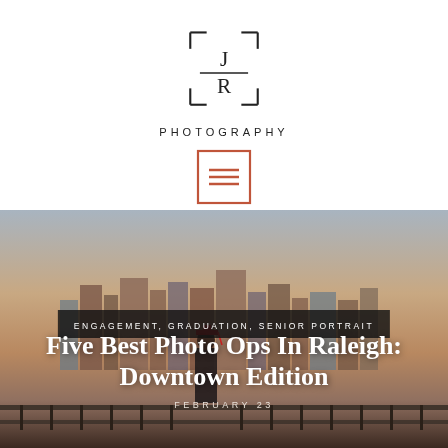[Figure (logo): JR Photography logo: stylized camera bracket corners forming a square around the letters J over R with a horizontal line between, followed by the word PHOTOGRAPHY in spaced capitals below]
[Figure (photo): A graduate wearing a red cap and patterned outfit stands on a bridge or walkway with the downtown Raleigh city skyline visible in a warm dusk/sunset sky behind them.]
ENGAGEMENT, GRADUATION, SENIOR PORTRAIT
Five Best Photo Ops In Raleigh: Downtown Edition
FEBRUARY 23